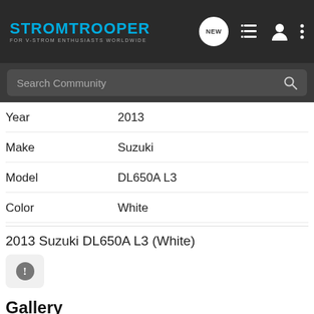STROMTROOPER — FOR V-STROM ENTHUSIASTS WORLDWIDE
Search Community
Year   2013
Make   Suzuki
Model   DL650A L3
Color   White
2013 Suzuki DL650A L3 (White)
Gallery
[Figure (photo): Partial gallery thumbnail showing outdoor scene with trees and sky]